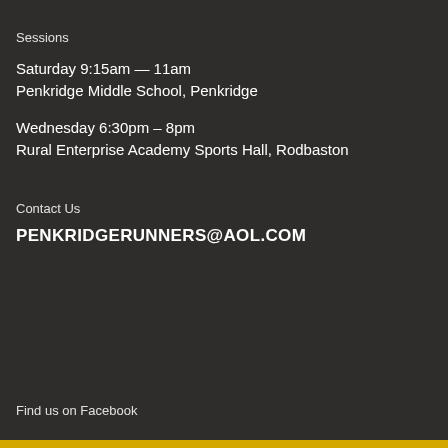Sessions
Saturday 9:15am — 11am
Penkridge Middle School, Penkridge
Wednesday 6:30pm – 8pm
Rural Enterprise Academy Sports Hall, Rodbaston
Contact Us
PENKRIDGERUNNERS@AOL.COM
Find us on Facebook